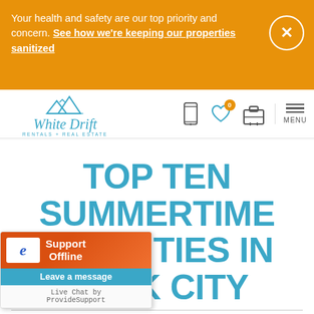Your health and safety are our top priority and concern. See how we're keeping our properties sanitized
[Figure (logo): White Drift Rentals + Real Estate logo with mountain illustration in teal/blue]
TOP TEN SUMMERTIME ACTIVITIES IN PARK CITY
[Figure (screenshot): Support Offline live chat widget by ProvideSupport - Leave a message]
rtime Activities in Park City
Many visitors come to Park City in the winter for skiing